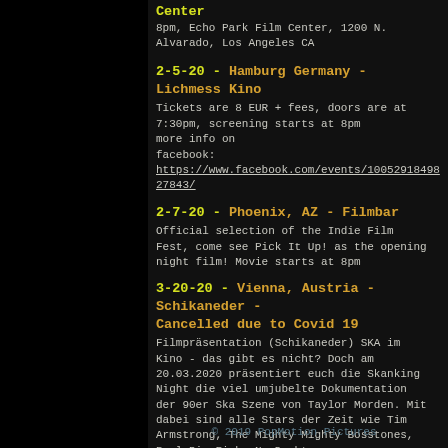Center
8pm, Echo Park Film Center, 1200 N. Alvarado, Los Angeles CA
2-5-20 - Hamburg Germany - Lichmess Kino
Tickets are 8 EUR + fees, doors are at 7:30pm, screening starts at 8pm
more info on
facebook: https://www.facebook.com/events/1005291849827843/
2-7-20 - Phoenix, AZ - Filmbar
Official selection of the Indie Film Fest, come see Pick It Up! as the opening night film! Movie starts at 8pm
3-20-20 - Vienna, Austria - Schikaneder - Cancelled due to Covid 19
Filmpräsentation (Schikaneder) SKA im Kino - das gibt es nicht? Doch am 20.03.2020 präsentiert euch die Skanking Night die viel umjubelte Dokumentation der 90er Ska Szene von Taylor Morden. Mit dabei sind alle Stars der Zeit wie Tim Armstrong, The Mighty Mighty Bosstones, Reel Big Fish, No Doubt ….
© 2019 PopMotion Pictures